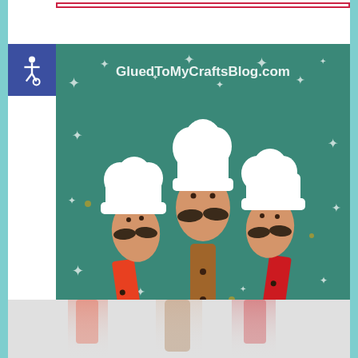[Figure (photo): Three wooden spoons decorated as chef characters with white paper chef hats, drawn mustaches and dot eyes, and painted handles (orange, natural brown, red) against a teal starry background. Watermark text reads GluedToMyCraftsBlog.com]
[Figure (logo): Accessibility wheelchair icon on dark blue/indigo square badge in upper left corner]